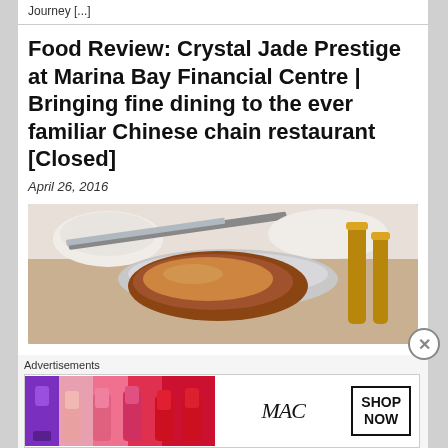Journey [...]
Food Review: Crystal Jade Prestige at Marina Bay Financial Centre | Bringing fine dining to the ever familiar Chinese chain restaurant [Closed]
April 26, 2016
[Figure (photo): Close-up of gloved hands using a knife to cut or prepare a roasted meat dish, with a metallic tray and golden utensil handles visible in the background.]
Advertisements
[Figure (photo): MAC Cosmetics advertisement banner showing lipsticks in purple, pink, coral, and red colors on the left, MAC logo script in the center, and a SHOP NOW button on the right.]